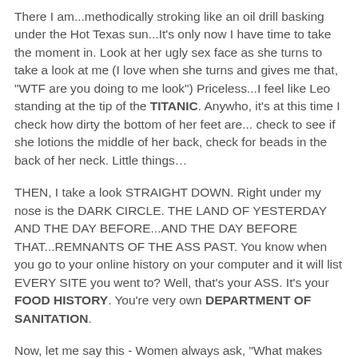There I am...methodically stroking like an oil drill basking under the Hot Texas sun...It's only now I have time to take the moment in. Look at her ugly sex face as she turns to take a look at me (I love when she turns and gives me that, "WTF are you doing to me look") Priceless...I feel like Leo standing at the tip of the TITANIC. Anywho, it's at this time I check how dirty the bottom of her feet are... check to see if she lotions the middle of her back, check for beads in the back of her neck. Little things…
THEN, I take a look STRAIGHT DOWN. Right under my nose is the DARK CIRCLE. THE LAND OF YESTERDAY AND THE DAY BEFORE...AND THE DAY BEFORE THAT...REMNANTS OF THE ASS PAST. You know when you go to your online history on your computer and it will list EVERY SITE you went to? Well, that's your ASS. It's your FOOD HISTORY. You're very own DEPARTMENT OF SANITATION.
Now, let me say this - Women always ask, "What makes sex good?" What is good KITTEN? When a man is having sex and it feels like a BLOWJOB. Now THAT my people is